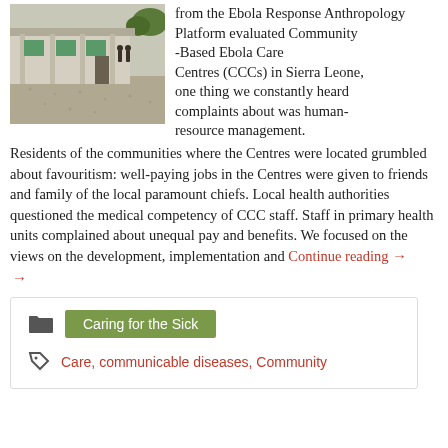[Figure (photo): Exterior photo of a Community-Based Ebola Care Centre building in Sierra Leone, showing a low building with green shuttered windows and people standing outside.]
from the Ebola Response Anthropology Platform evaluated Community-Based Ebola Care Centres (CCCs) in Sierra Leone, one thing we constantly heard complaints about was human-resource management. Residents of the communities where the Centres were located grumbled about favouritism: well-paying jobs in the Centres were given to friends and family of the local paramount chiefs. Local health authorities questioned the medical competency of CCC staff. Staff in primary health units complained about unequal pay and benefits. We focused on the views on the development, implementation and Continue reading →
Caring for the Sick
Care, communicable diseases, Community